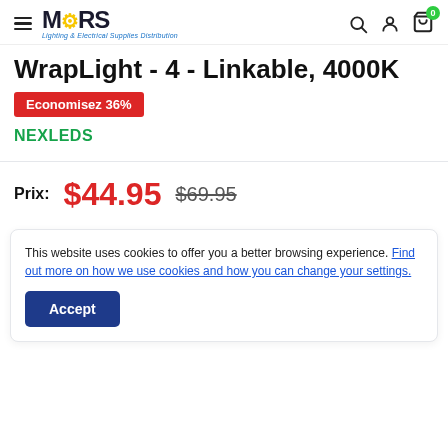MARS Lighting & Electrical Supplies Distribution — navigation header with search, account, and cart icons
WrapLight - 4 - Linkable, 4000K
Economisez 36%
NEXLEDS
Prix: $44.95  $69.95
This website uses cookies to offer you a better browsing experience. Find out how we use cookies and how you can change your settings.